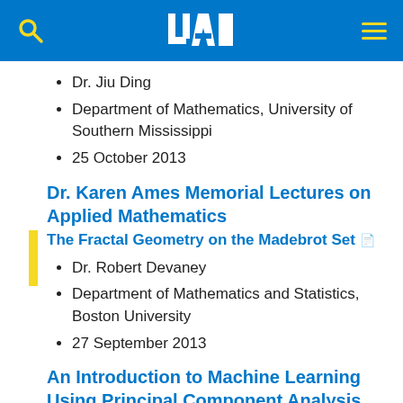UAH navigation bar with logo, search, and menu
Dr. Jiu Ding
Department of Mathematics, University of Southern Mississippi
25 October 2013
Dr. Karen Ames Memorial Lectures on Applied Mathematics
The Fractal Geometry on the Madebrot Set
Dr. Robert Devaney
Department of Mathematics and Statistics, Boston University
27 September 2013
An Introduction to Machine Learning Using Principal Component Analysis